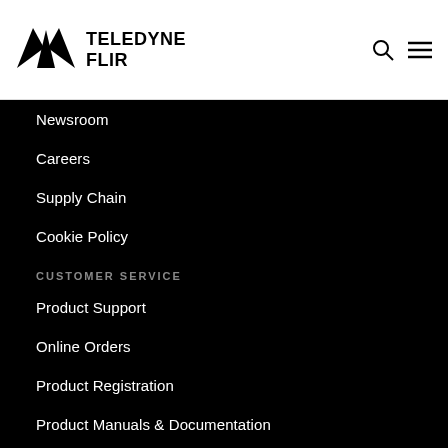[Figure (logo): Teledyne FLIR logo with triangular arrow icon and bold text]
Newsroom
Careers
Supply Chain
Cookie Policy
CUSTOMER SERVICE
Product Support
Online Orders
Product Registration
Product Manuals & Documentation
Warranty Information
Reseller & Customer Info
Current Promotions
FLIR Store